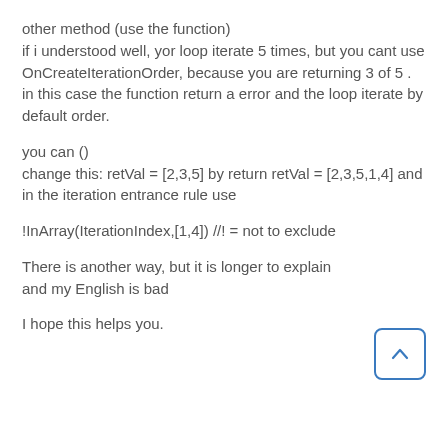other method (use the function)
if i understood well, yor loop iterate 5 times, but you cant use OnCreateIterationOrder, because you are returning 3 of 5 . in this case the function return a error and the loop iterate by default order.
you can ()
change this: retVal = [2,3,5] by return retVal = [2,3,5,1,4] and
in the iteration entrance rule use
!InArray(IterationIndex,[1,4]) //! = not to exclude
There is another way, but it is longer to explain and my English is bad
I hope this helps you.